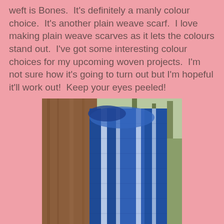weft is Bones.  It's definitely a manly colour choice.  It's another plain weave scarf.  I love making plain weave scarves as it lets the colours stand out.  I've got some interesting colour choices for my upcoming woven projects.  I'm not sure how it's going to turn out but I'm hopeful it'll work out!  Keep your eyes peeled!
[Figure (photo): A blue woven scarf with white/light stripes draped over a piece of weathered wood, photographed outdoors. The scarf has fringe at the bottom and shows a plain weave pattern in shades of blue with pale stripe accents.]